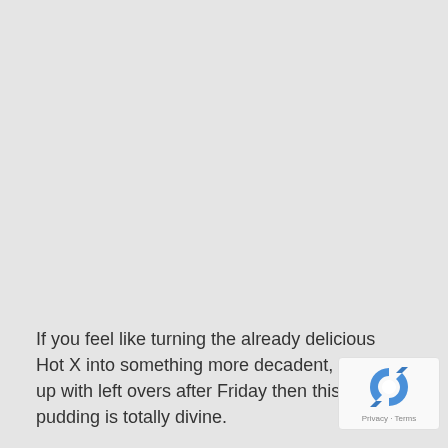If you feel like turning the already delicious Hot X into something more decadent, or end up with leftovers after Friday then this pudding is totally divine.
[Figure (logo): Google reCAPTCHA badge with logo and Privacy - Terms links]